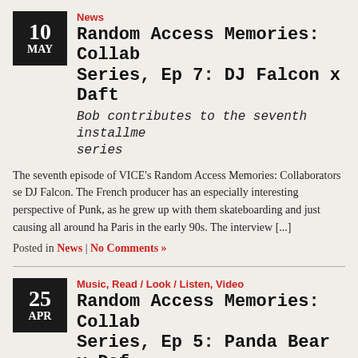News
Random Access Memories: Collab Series, Ep 7: DJ Falcon x Daft
Bob contributes to the seventh installme series
The seventh episode of VICE's Random Access Memories: Collaborators se DJ Falcon. The French producer has an especially interesting perspective of Punk, as he grew up with them skateboarding and just causing all around ha Paris in the early 90s. The interview [...]
Posted in News | No Comments »
Music, Read / Look / Listen, Video
Random Access Memories: Collab Series, Ep 5: Panda Bear x Daf
An Animal Collective in the fifth instal VICE series
So we've had Giorgio Moroder, Todd Edwards, Nile Rodgers and Pharrell Wi to hear from Panda Bear. The VICE crew's fifth episode of their Random Acco Collaborators series features the vocalist and key member of Animal Collecti